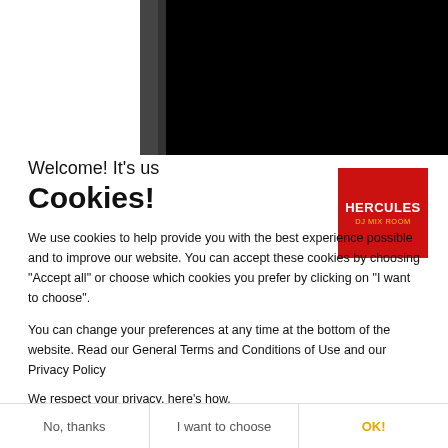[Figure (screenshot): Top portion of a website showing a dark/black image area with vertical strips on the left side, and a white space on the far left]
Welcome! It's us
Cookies!
[Figure (logo): Hercules DJ Mix Room logo — red square with white HERCULES text and yellow DJ MIX ROOM text]
We use cookies to help provide you with the best experience possible and to improve our website. You can accept these cookies by choosing “Accept all” or choose which cookies you prefer by clicking on “I want to choose”.
You can change your preferences at any time at the bottom of the website. Read our General Terms and Conditions of Use and our Privacy Policy
We respect your privacy, here's how.
No, thanks	I want to choose	OK!